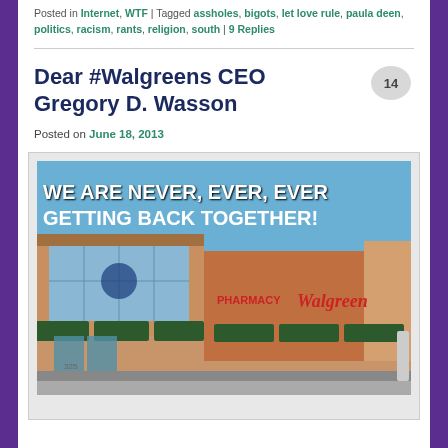Posted in Internet, WTF | Tagged assholes, bigots, let love rule, paula deen, politics, racism, rants, religion, south | 9 Replies
Dear #Walgreens CEO Gregory D. Wasson
Posted on June 18, 2013
[Figure (photo): Photo of a Walgreens pharmacy building exterior with text overlay reading 'WE ARE NEVER, EVER, EVER GETTING BACK TOGETHER!']